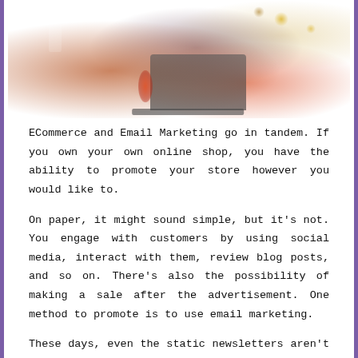[Figure (photo): A dimly lit scene showing a laptop on a table with warm reddish-orange lighting, a wine glass, candle, and bokeh lights in the background]
ECommerce and Email Marketing go in tandem. If you own your own online shop, you have the ability to promote your store however you would like to.
On paper, it might sound simple, but it's not. You engage with customers by using social media, interact with them, review blog posts, and so on. There's also the possibility of making a sale after the advertisement. One method to promote is to use email marketing.
These days, even the static newsletters aren't enough to grab one's attention. If you have a strategy in mind, say hello to Aweber.
This review will cover Aweber and how the email marketing